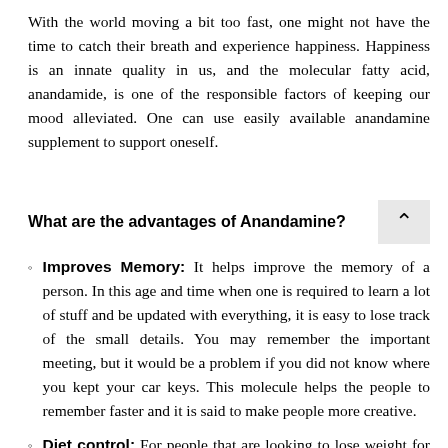With the world moving a bit too fast, one might not have the time to catch their breath and experience happiness. Happiness is an innate quality in us, and the molecular fatty acid, anandamide, is one of the responsible factors of keeping our mood alleviated. One can use easily available anandamine supplement to support oneself.
What are the advantages of Anandamine?
Improves Memory: It helps improve the memory of a person. In this age and time when one is required to learn a lot of stuff and be updated with everything, it is easy to lose track of the small details. You may remember the important meeting, but it would be a problem if you did not know where you kept your car keys. This molecule helps the people to remember faster and it is said to make people more creative.
Diet control: For people that are looking to lose weight for the aesthetic purpose or for medical reasons here is ...